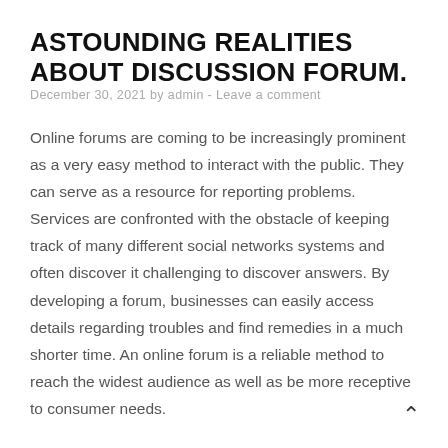ASTOUNDING REALITIES ABOUT DISCUSSION FORUM.
December 30, 2021 by admin - Leave a comment
Online forums are coming to be increasingly prominent as a very easy method to interact with the public. They can serve as a resource for reporting problems. Services are confronted with the obstacle of keeping track of many different social networks systems and often discover it challenging to discover answers. By developing a forum, businesses can easily access details regarding troubles and find remedies in a much shorter time. An online forum is a reliable method to reach the widest audience as well as be more receptive to consumer needs.